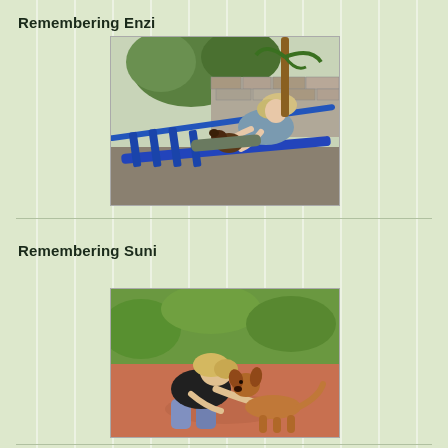Remembering Enzi
[Figure (photo): A woman with blonde hair sitting in a blue hammock or lounge chair, holding a small dog or puppy. Outdoor setting with green foliage and a stone wall in the background.]
Remembering Suni
[Figure (photo): A woman with blonde hair bending down to nuzzle or kiss a small tan/brown puppy on a reddish-brown paved outdoor surface with green grass in the background.]